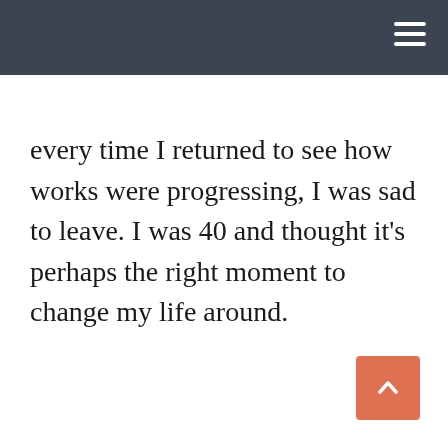every time I returned to see how works were progressing, I was sad to leave. I was 40 and thought it's perhaps the right moment to change my life around.